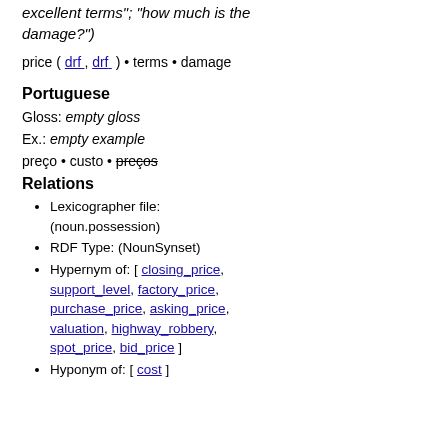excellent terms"; "how much is the damage?")
price ( drf , drf ) • terms • damage
Portuguese
Gloss: empty gloss
Ex.: empty example
preço • custo • preços
Relations
Lexicographer file: (noun.possession)
RDF Type: (NounSynset)
Hypernym of: [ closing_price, support_level, factory_price, purchase_price, asking_price, valuation, highway_robbery, spot_price, bid_price ]
Hyponym of: [ cost ]